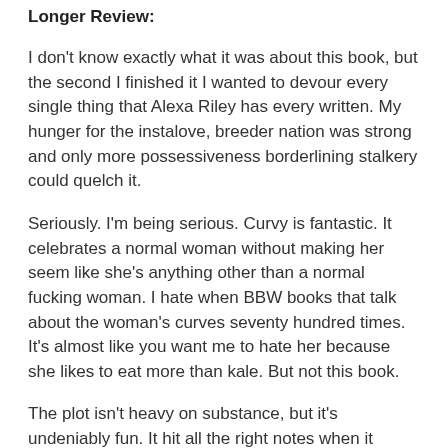Longer Review:
I don't know exactly what it was about this book, but the second I finished it I wanted to devour every single thing that Alexa Riley has every written. My hunger for the instalove, breeder nation was strong and only more possessiveness borderlining stalkery could quelch it.
Seriously. I'm being serious. Curvy is fantastic. It celebrates a normal woman without making her seem like she's anything other than a normal fucking woman. I hate when BBW books that talk about the woman's curves seventy hundred times. It's almost like you want me to hate her because she likes to eat more than kale. But not this book.
The plot isn't heavy on substance, but it's undeniably fun. It hit all the right notes when it comes to fast falls